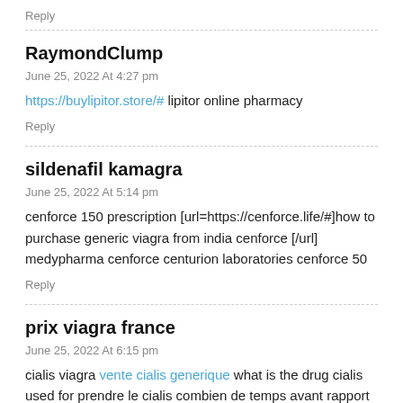Reply
RaymondClump
June 25, 2022 At 4:27 pm
https://buylipitor.store/# lipitor online pharmacy
Reply
sildenafil kamagra
June 25, 2022 At 5:14 pm
cenforce 150 prescription [url=https://cenforce.life/#]how to purchase generic viagra from india cenforce [/url] medypharma cenforce centurion laboratories cenforce 50
Reply
prix viagra france
June 25, 2022 At 6:15 pm
cialis viagra vente cialis generique what is the drug cialis used for prendre le cialis combien de temps avant rapport